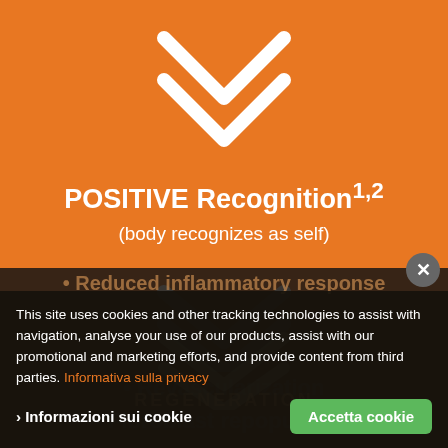[Figure (infographic): Orange background infographic showing POSITIVE Recognition flow with downward chevron arrows, bullet points for Revascularization and Fibroblast repopulation, and partially visible text for Reduced inflammatory response and REGENERATION]
POSITIVE Recognition¹·² (body recognizes as self)
• Revascularization
• Fibroblast repopulation
• Reduced inflammatory response
REGENERATION
This site uses cookies and other tracking technologies to assist with navigation, analyse your use of our products, assist with our promotional and marketing efforts, and provide content from third parties. Informativa sulla privacy
Informazioni sui cookie
Accetta cookie